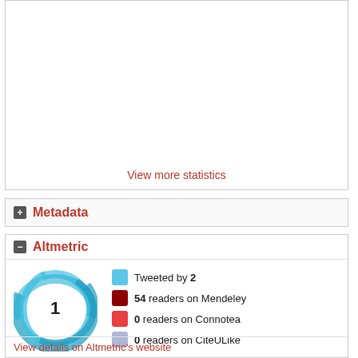View more statistics
+ Metadata
- Altmetric
[Figure (donut-chart): Altmetric donut badge showing score of 1, with blue swirling ring design]
Tweeted by 2
54 readers on Mendeley
0 readers on Connotea
0 readers on CiteULike
View details on Altmetric's website